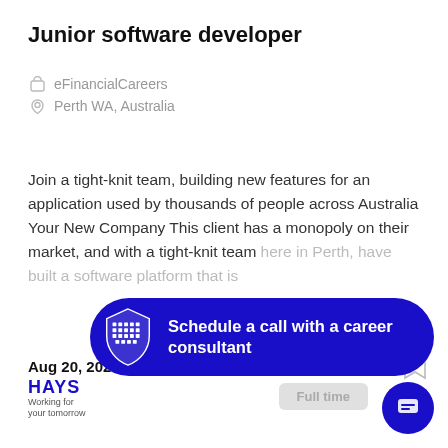Junior software developer
eFinancialCareers
Perth WA, Australia
Join a tight-knit team, building new features for an application used by thousands of people across Australia Your New Company This client has a monopoly on their market, and with a tight-knit team here in Perth, have built a software platform that is
Aug 20, 2022
[Figure (infographic): Blue rounded rectangle CTA banner with a shield logo and text 'Schedule a call with a career consultant']
[Figure (logo): HAYS logo with tagline 'Working for your tomorrow']
Full time
[Figure (illustration): Blue circular chat button with message icon]